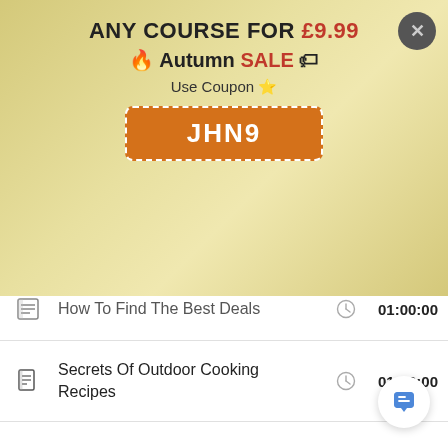ANY COURSE FOR £9.99
🔥 Autumn SALE 🏷
Use Coupon ⭐
JHN9
How To Find The Best Deals — 01:00:00
Secrets Of Outdoor Cooking Recipes — 01:00:00
Once A Month Cooking Recipes — 00:15:00
Mother's Day Cooking Made Easy — 01:00:00
Mardi Gras Cooking Cajun Style — 00:30:00
Learn To Cook Italian Food On Vacation — 01:00:00